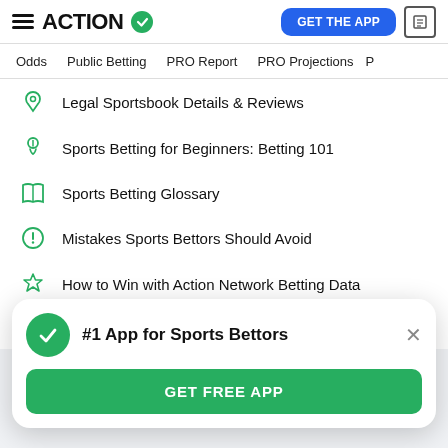ACTION (logo with checkmark) | GET THE APP
Odds | Public Betting | PRO Report | PRO Projections
Legal Sportsbook Details & Reviews
Sports Betting for Beginners: Betting 101
Sports Betting Glossary
Mistakes Sports Bettors Should Avoid
How to Win with Action Network Betting Data
How to Manage Your Sports Betting Bankroll (partial)
#1 App for Sports Bettors
GET FREE APP